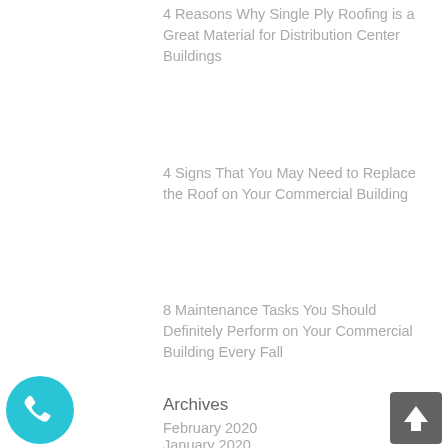4 Reasons Why Single Ply Roofing is a Great Material for Distribution Center Buildings
4 Signs That You May Need to Replace the Roof on Your Commercial Building
8 Maintenance Tasks You Should Definitely Perform on Your Commercial Building Every Fall
Archives
February 2020
January 2020
December 2019
[Figure (illustration): Blue circular phone/call button icon in bottom-left corner]
[Figure (illustration): Dark grey square scroll-to-top button with upward arrow in bottom-right corner]